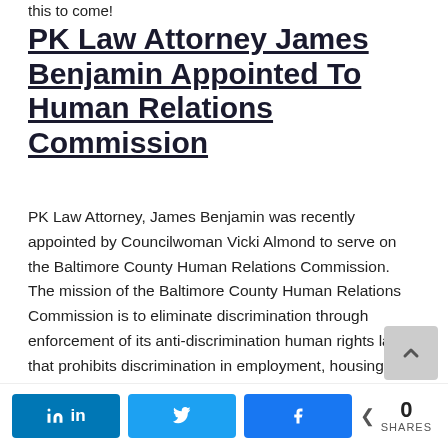this to come!
PK Law Attorney James Benjamin Appointed To Human Relations Commission
PK Law Attorney, James Benjamin was recently appointed by Councilwoman Vicki Almond to serve on the Baltimore County Human Relations Commission.  The mission of the Baltimore County Human Relations Commission is to eliminate discrimination through enforcement of its anti-discrimination human rights law that prohibits discrimination in employment, housing, public accommodations, education and finance, on the bases of age, color, creed, marital status, national origin, physical or mental